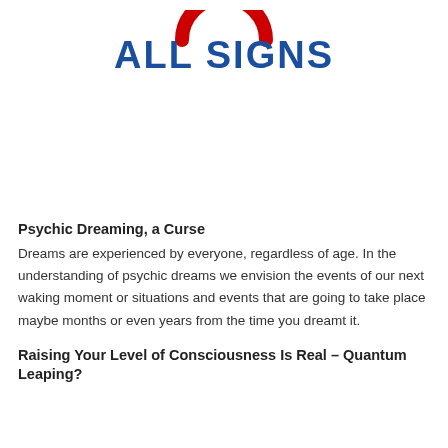[Figure (logo): ALL SIGNS logo with red arc above blue bold text 'ALL SIGNS']
Psychic Dreaming, a Curse
Dreams are experienced by everyone, regardless of age. In the understanding of psychic dreams we envision the events of our next waking moment or situations and events that are going to take place maybe months or even years from the time you dreamt it.
Raising Your Level of Consciousness Is Real – Quantum Leaping?